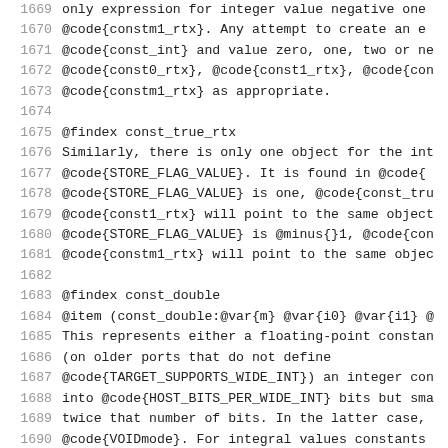1669   only expression for integer value negative one
1670   @code{constm1_rtx}.  Any attempt to create an e
1671   @code{const_int} and value zero, one, two or ne
1672   @code{const0_rtx}, @code{const1_rtx}, @code{con
1673   @code{constm1_rtx} as appropriate.
1674
1675   @findex const_true_rtx
1676   Similarly, there is only one object for the int
1677   @code{STORE_FLAG_VALUE}.  It is found in @code{
1678   @code{STORE_FLAG_VALUE} is one, @code{const_tru
1679   @code{const1_rtx} will point to the same object
1680   @code{STORE_FLAG_VALUE} is @minus{}1, @code{con
1681   @code{constm1_rtx} will point to the same objec
1682
1683   @findex const_double
1684   @item (const_double:@var{m} @var{i0} @var{i1} @
1685   This represents either a floating-point constan
1686   (on older ports that do not define
1687   @code{TARGET_SUPPORTS_WIDE_INT}) an integer con
1688   into @code{HOST_BITS_PER_WIDE_INT} bits but sma
1689   twice that number of bits.  In the latter case,
1690   @code{VOIDmode}.  For integral values constants